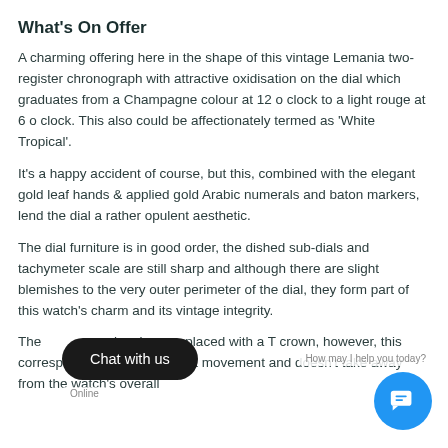What's On Offer
A charming offering here in the shape of this vintage Lemania two-register chronograph with attractive oxidisation on the dial which graduates from a Champagne colour at 12 o clock to a light rouge at 6 o clock. This also could be affectionately termed as 'White Tropical'.
It's a happy accident of course, but this, combined with the elegant gold leaf hands & applied gold Arabic numerals and baton markers, lend the dial a rather opulent aesthetic.
The dial furniture is in good order, the dished sub-dials and tachymeter scale are still sharp and although there are slight blemishes to the very outer perimeter of the dial, they form part of this watch's charm and its vintage integrity.
The crown pointhas been replaced with a T crown, however, this corresponds with the Lemania movement and doesn't take away from the watch's overall